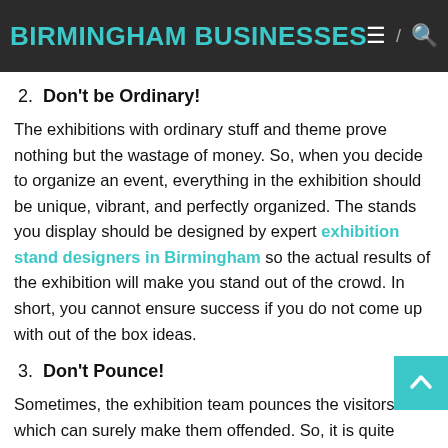BIRMINGHAM BUSINESSES
2. Don't be Ordinary!
The exhibitions with ordinary stuff and theme prove nothing but the wastage of money. So, when you decide to organize an event, everything in the exhibition should be unique, vibrant, and perfectly organized. The stands you display should be designed by expert exhibition stand designers in Birmingham so the actual results of the exhibition will make you stand out of the crowd. In short, you cannot ensure success if you do not come up with out of the box ideas.
3. Don't Pounce!
Sometimes, the exhibition team pounces the visitors which can surely make them offended. So, it is quite important to showcase your products in a very clear way that the visitors automatically get attracted to the stuff you are offering. Pouncing doesn't suit to exhibitions as it can decrease the worth of your services.